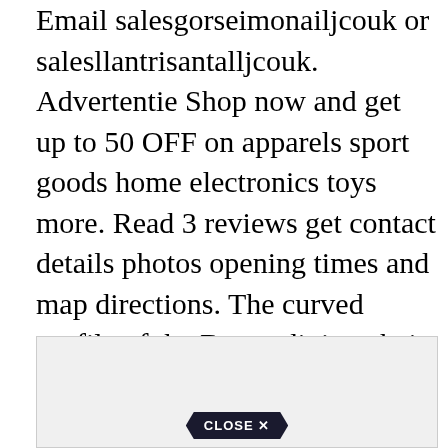Email salesgorseimonailjcouk or salesllantrisantalljcouk. Advertentie Shop now and get up to 50 OFF on apparels sport goods home electronics toys more. Read 3 reviews get contact details photos opening times and map directions. The curved profile of the Bosco dining chair back emphasises the solidity of the timber and provides added lumbar support. Advertentie Wide Range Of Beds Bedroom Furniture.
[Figure (other): Advertisement box with a dark pentagon-shaped CLOSE X button at the bottom center, light grey background]